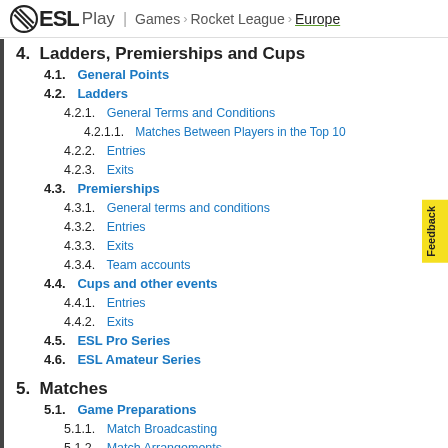ESL Play | Games > Rocket League > Europe
4. Ladders, Premierships and Cups
4.1. General Points
4.2. Ladders
4.2.1. General Terms and Conditions
4.2.1.1. Matches Between Players in the Top 10
4.2.2. Entries
4.2.3. Exits
4.3. Premierships
4.3.1. General terms and conditions
4.3.2. Entries
4.3.3. Exits
4.3.4. Team accounts
4.4. Cups and other events
4.4.1. Entries
4.4.2. Exits
4.5. ESL Pro Series
4.6. ESL Amateur Series
5. Matches
5.1. Game Preparations
5.1.1. Match Broadcasting
5.1.2. Match Arrangements
5.2. Server
5.2.1. Choice of server
5.2.2. Server settings
5.2.3. Ping